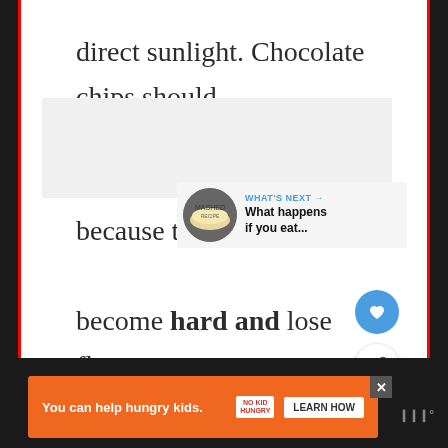direct sunlight. Chocolate chips should not be refrigerated because they tend to become hard and lose flavor.
[Figure (screenshot): UI buttons: heart (like) button in blue circle, share button in white circle with shadow]
[Figure (screenshot): What's Next panel showing thumbnail of mashed potatoes dish with text 'WHAT'S NEXT → What happens if you eat...']
[Figure (screenshot): Advertisement banner: orange background with text 'You can help hungry kids.' No Kid Hungry logo and LEARN HOW button]